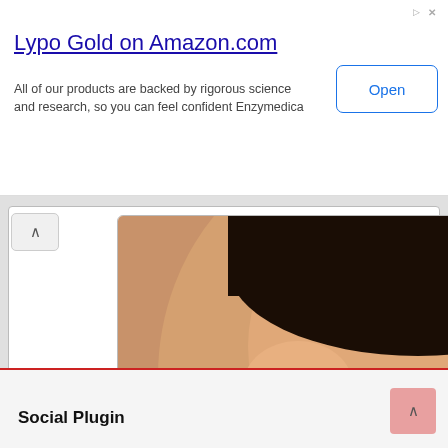[Figure (screenshot): Top banner advertisement for Lypo Gold on Amazon.com by Enzymedica with Open button]
Lypo Gold on Amazon.com
All of our products are backed by rigorous science and research, so you can feel confident Enzymedica
[Figure (photo): Close-up photo of a smiling woman with hand near face, wearing orange top and pearl earring]
Learn more
MedStar Washington Hospital Center
Social Plugin